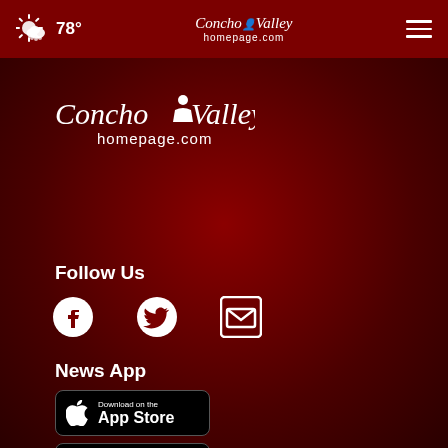78° | Concho Valley homepage.com
[Figure (logo): Concho Valley homepage.com logo in main content area]
Follow Us
[Figure (infographic): Social media icons: Facebook, Twitter, Email]
News App
[Figure (infographic): Download on the App Store button]
[Figure (infographic): GET IT ON Google Play button]